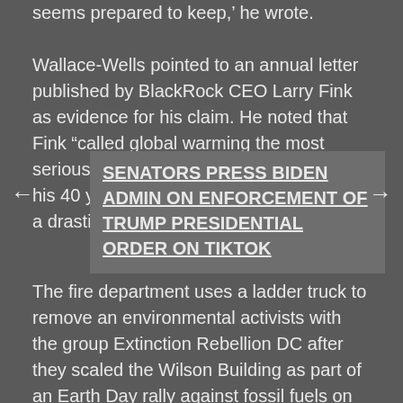seems prepared to keep,' he wrote.

Wallace-Wells pointed to an annual letter published by BlackRock CEO Larry Fink as evidence for his claim. He noted that Fink “called global warming the most serious threat to the financial system in his 40 years of experience and promised a drastic response from his firm.”
SENATORS PRESS BIDEN ADMIN ON ENFORCEMENT OF TRUMP PRESIDENTIAL ORDER ON TIKTOK
The fire department uses a ladder truck to remove an environmental activists with the group Extinction Rebellion DC after they scaled the Wilson Building as part of an Earth Day rally against fossil fuels on April 22, 2022 in Washington, DC.